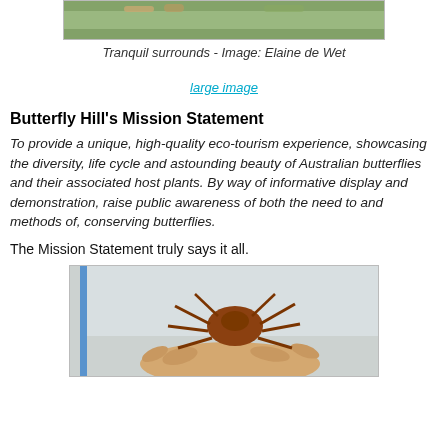[Figure (photo): Top portion of a tranquil garden surrounds image, partially cropped]
Tranquil surrounds - Image: Elaine de Wet
large image
Butterfly Hill's Mission Statement
To provide a unique, high-quality eco-tourism experience, showcasing the diversity, life cycle and astounding beauty of Australian butterflies and their associated host plants. By way of informative display and demonstration, raise public awareness of both the need to and methods of, conserving butterflies.
The Mission Statement truly says it all.
[Figure (photo): A hand holding a large brown spider or insect, photographed indoors with a blue pole/stick visible on the left]